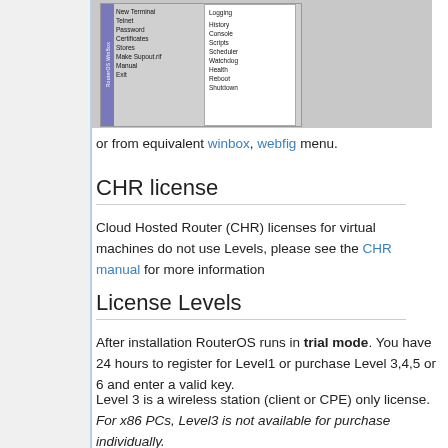[Figure (screenshot): RouterOS WinBox application screenshot showing a menu with items: New Terminal, Telnet, Password, Certificates, Stores, Make Supout.rif, Manual, Exit — and a submenu panel showing: Logging, History, Console, Scripts, Scheduler, Watchdog, Health, Reboot, Shutdown]
or from equivalent winbox, webfig menu.
CHR license
Cloud Hosted Router (CHR) licenses for virtual machines do not use Levels, please see the CHR manual for more information
License Levels
After installation RouterOS runs in trial mode. You have 24 hours to register for Level1 or purchase Level 3,4,5 or 6 and enter a valid key.
Level 3 is a wireless station (client or CPE) only license. For x86 PCs, Level3 is not available for purchase individually.